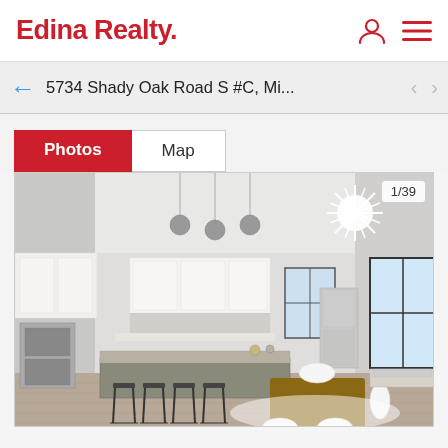Edina Realty.
5734 Shady Oak Road S #C, Mi...
Photos | Map
[Figure (photo): Interior photo of a modern open-concept kitchen and dining area with white cabinets, island with bar stools, pendant lights, starburst chandelier, dining table with white chairs, and large windows. Photo counter shows 1/39.]